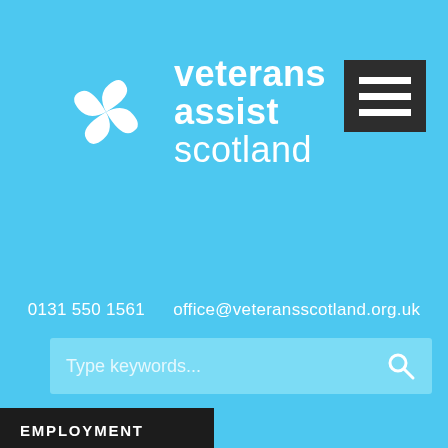[Figure (logo): Veterans Assist Scotland logo: circular arrangement of white hand/dove shapes forming a ring on sky-blue background, next to text 'veterans assist scotland']
0131 550 1561   office@veteransscotland.org.uk
[Figure (screenshot): Search bar with placeholder text 'Type keywords...' and a search icon on the right]
EMPLOYMENT
MEMBERSHIP
HOUSING
HEALTH
CHAMPIONS
FUNDING